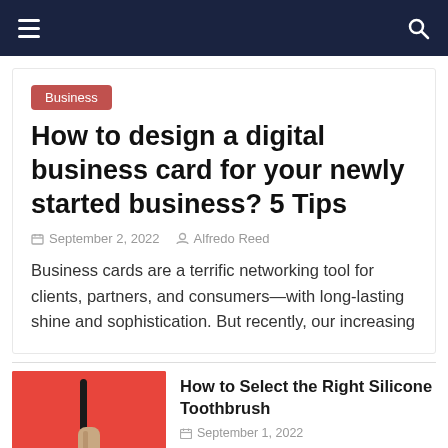Navigation bar with hamburger menu and search icon
Business
How to design a digital business card for your newly started business? 5 Tips
September 2, 2022   Alfredo Reed
Business cards are a terrific networking tool for clients, partners, and consumers—with long-lasting shine and sophistication. But recently, our increasing
[Figure (photo): Hand holding a black silicone toothbrush against a red/coral background]
How to Select the Right Silicone Toothbrush
September 1, 2022
[Figure (photo): Colorful office supplies and phone on blue/pink background]
HOW TO CREATE A VIRTUAL NUMBER